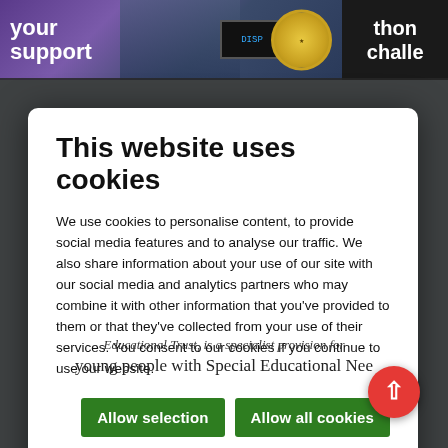[Figure (screenshot): Top banner with purple/dark background showing 'your support' text, a figure/athlete image, a digital display, and a gold rotary logo. Right side shows dark panel with partial text 'thon challe'.]
[Figure (screenshot): Cookie consent modal dialog overlaying a webpage background. Contains title, body text, two green buttons, and cookie preference checkboxes.]
This website uses cookies
We use cookies to personalise content, to provide social media features and to analyse our traffic. We also share information about your use of our site with our social media and analytics partners who may combine it with other information that you've provided to them or that they've collected from your use of their services. You consent to our cookies if you continue to use our website.
Allow selection
Allow all cookies
Necessary  Preferences  Statistics  Marketing  Show details
Educational Trust, is a specialist provision for young people with Special Educational Nee